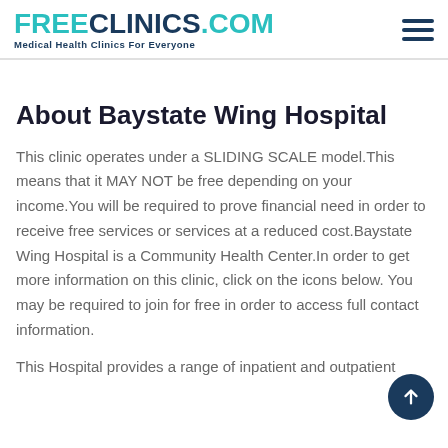FREECLINICS.COM — Medical Health Clinics For Everyone
About Baystate Wing Hospital
This clinic operates under a SLIDING SCALE model.This means that it MAY NOT be free depending on your income.You will be required to prove financial need in order to receive free services or services at a reduced cost.Baystate Wing Hospital is a Community Health Center.In order to get more information on this clinic, click on the icons below. You may be required to join for free in order to access full contact information.
This Hospital provides a range of inpatient and outpatient